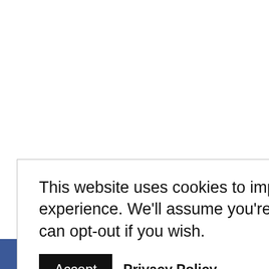This website uses cookies to improve your experience. We'll assume you're ok with this, but you can opt-out if you wish.
Accept   Privacy Policy
[Figure (other): Social sharing bar with Facebook, Twitter, Pinterest, Google+, and Email icons]